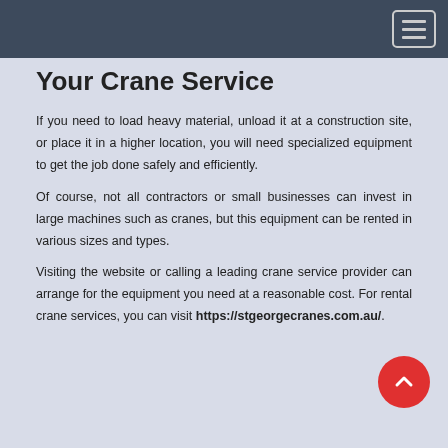Navigation bar with hamburger menu button
Your Crane Service
If you need to load heavy material, unload it at a construction site, or place it in a higher location, you will need specialized equipment to get the job done safely and efficiently.
Of course, not all contractors or small businesses can invest in large machines such as cranes, but this equipment can be rented in various sizes and types.
Visiting the website or calling a leading crane service provider can arrange for the equipment you need at a reasonable cost. For rental crane services, you can visit https://stgeorgecranes.com.au/.